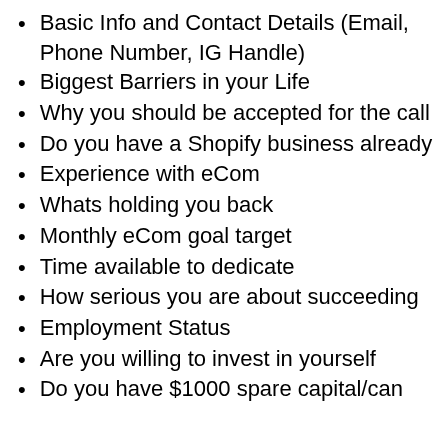Basic Info and Contact Details (Email, Phone Number, IG Handle)
Biggest Barriers in your Life
Why you should be accepted for the call
Do you have a Shopify business already
Experience with eCom
Whats holding you back
Monthly eCom goal target
Time available to dedicate
How serious you are about succeeding
Employment Status
Are you willing to invest in yourself
Do you have $1000 spare capital/can